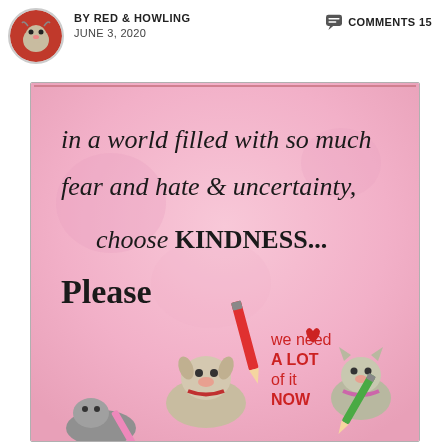BY RED & HOWLING  JUNE 3, 2020  COMMENTS 15
[Figure (illustration): Cartoon illustration with pink background. Text reads: 'in a world filled with so much fear and hate & uncertainty, choose KINDNESS... Please' with a small note 'we need A LOT of it NOW'. Illustrated cartoon animals (dog and cat) with pencils.]